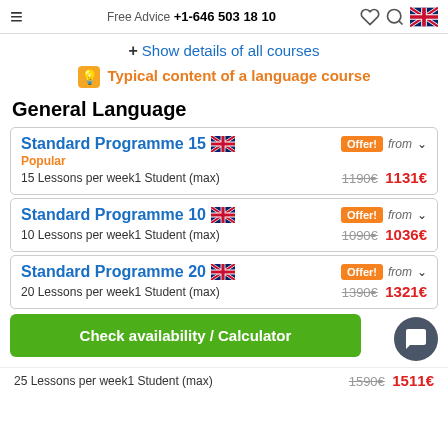Free Advice +1-646 503 18 10
+ Show details of all courses
Typical content of a language course
General Language
Standard Programme 15 | Popular | Offer! from | 1190€ 1131€ | 15 Lessons per week1 Student (max)
Standard Programme 10 | Offer! from | 1090€ 1036€ | 10 Lessons per week1 Student (max)
Standard Programme 20 | Offer! from | 1390€ 1321€ | 20 Lessons per week1 Student (max)
Check availability / Calculator
25 Lessons per week1 Student (max) | 1590€ 1511€